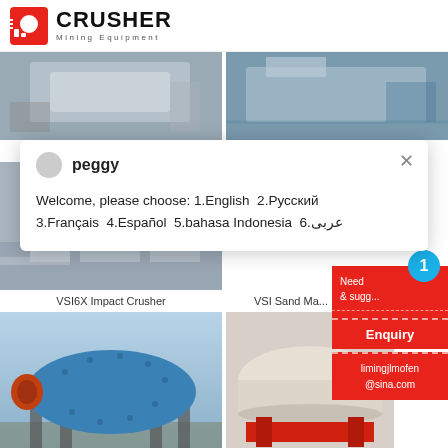[Figure (logo): Crusher Mining Equipment logo with red icon and bold text]
[Figure (photo): PCL Sand Making Machine industrial equipment photo]
PCL Sand Making Machine
[Figure (photo): VSI5X Impact Crusher industrial equipment photo]
VSI5X Impact Crusher
[Figure (photo): VSI6X Impact Crusher industrial equipment photo with 24Hrs Online badge]
[Figure (photo): VSI Sand Making machine industrial equipment photo]
VSI6X Impact Crusher
VSI Sand Ma...
[Figure (photo): Ball mill industrial equipment photo - large blue cylindrical machine]
[Figure (photo): Industrial drum/roller equipment photo]
peggy
Welcome, please choose: 1.English  2.Русский  3.Français  4.Español  5.bahasa Indonesia  6.عربی
Need 1
& sugg
Chat Now
Enquiry
limingjlmofen@sina.com